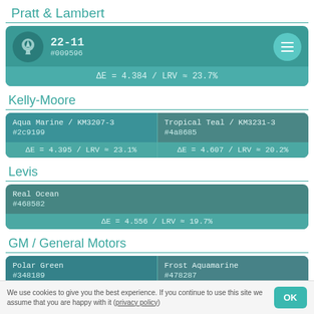Pratt & Lambert
22-11 | #009596 | ΔE = 4.384 / LRV ≈ 23.7%
Kelly-Moore
Aqua Marine / KM3207-3 | #2c9199 | ΔE = 4.395 / LRV ≈ 23.1%
Tropical Teal / KM3231-3 | #4a8685 | ΔE = 4.607 / LRV ≈ 20.2%
Levis
Real Ocean | #468582 | ΔE = 4.556 / LRV ≈ 19.7%
GM / General Motors
Polar Green | #348189
Frost Aquamarine | #478287
We use cookies to give you the best experience. If you continue to use this site we assume that you are happy with it (privacy policy)